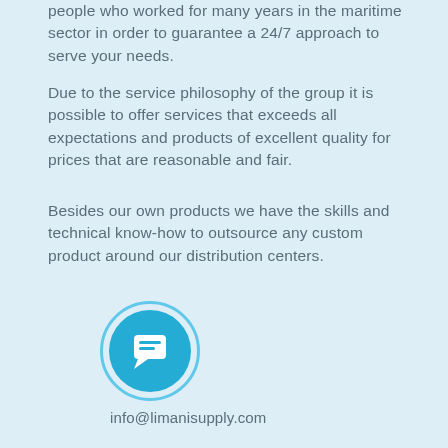people who worked for many years in the maritime sector in order to guarantee a 24/7 approach to serve your needs.
Due to the service philosophy of the group it is possible to offer services that exceeds all expectations and products of excellent quality for prices that are reasonable and fair.
Besides our own products we have the skills and technical know-how to outsource any custom product around our distribution centers.
[Figure (illustration): Circular icon with light blue outer ring and solid cyan/blue inner circle containing a white chat/message bubble icon]
info@limanisupply.com